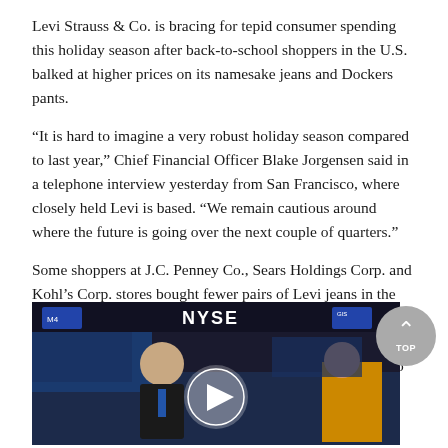Levi Strauss & Co. is bracing for tepid consumer spending this holiday season after back-to-school shoppers in the U.S. balked at higher prices on its namesake jeans and Dockers pants.
“It is hard to imagine a very robust holiday season compared to last year,” Chief Financial Officer Blake Jorgensen said in a telephone interview yesterday from San Francisco, where closely held Levi is based. “We remain cautious around where the future is going over the next couple of quarters.”
Some shoppers at J.C. Penney Co., Sears Holdings Corp. and Kohl’s Corp. stores bought fewer pairs of Levi jeans in the quarter that ended Aug. 28, which included the start of the back-to-school season, Jorgensen said. To clear out excess merchandise, Levi cut prices it had raised in the past year to cover soaring cotton costs, hurting profitability.
[Figure (photo): Video thumbnail showing two people being interviewed on NYSE trading floor, with a play button overlay. A 'TOP' button with an upward arrow appears in the upper right.]